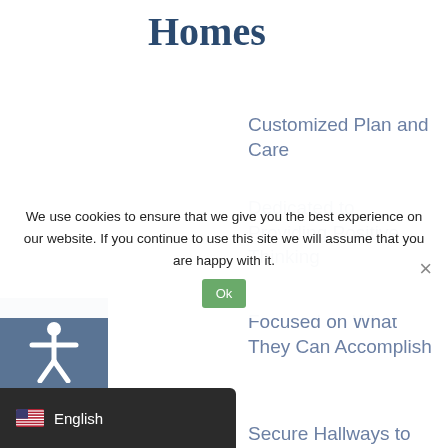Homes
Customized Plan and Care
Dedicated to Providing Positive Thinking
Focused on What They Can Accomplish
Secure Hallways to Keep Wanderers Safe
We use cookies to ensure that we give you the best experience on our website. If you continue to use this site we will assume that you are happy with it.
English